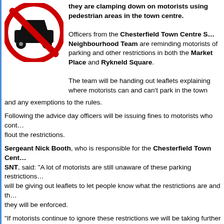they are clamping down on motorists using pedestrian areas in the town centre.
[Figure (illustration): No Motor Vehicle road sign: red circle with diagonal red bar over a black car silhouette on white background]
Officers from the Chesterfield Town Centre SNT Neighbourhood Team are reminding motorists of parking and other restrictions in both the Market Place and Rykneld Square.
The team will be handing out leaflets explaining where motorists can and can't park in the town and any exemptions to the rules.
Following the advice day officers will be issuing fines to motorists who continue to flout the restrictions.
Sergeant Nick Booth, who is responsible for the Chesterfield Town Centre SNT, said: "A lot of motorists are still unaware of these parking restrictions and will be giving out leaflets to let people know what the restrictions are and that they will be enforced.
"If motorists continue to ignore these restrictions we will be taking further action and issuing fixed penalty notices."
The restrictions in place include a 'No Motor Vehicle' sign at the top of Glumangate when entering the Market Place. The only exception to this is for disabled badge holders and for access for loading/unloading.
Rykneld Square also has a 'No Motor Vehicle' sign with the only exception for loading/unloading. There is no exemption for disabled badge holders or other vehicles.